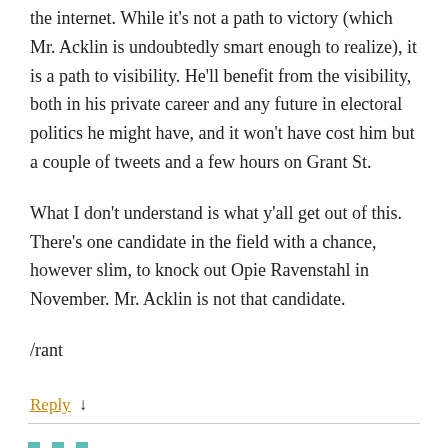the internet. While it's not a path to victory (which Mr. Acklin is undoubtedly smart enough to realize), it is a path to visibility. He'll benefit from the visibility, both in his private career and any future in electoral politics he might have, and it won't have cost him but a couple of tweets and a few hours on Grant St.
What I don't understand is what y'all get out of this. There's one candidate in the field with a chance, however slim, to knock out Opie Ravenstahl in November. Mr. Acklin is not that candidate.
/rant
Reply ↓
Bram Reichbaum